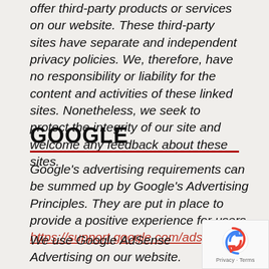offer third-party products or services on our website. These third-party sites have separate and independent privacy policies. We, therefore, have no responsibility or liability for the content and activities of these linked sites. Nonetheless, we seek to protect the integrity of our site and welcome any feedback about these sites.
GOOGLE
Google's advertising requirements can be summed up by Google's Advertising Principles. They are put in place to provide a positive experience for users. https://support.google.com/adspolicy/answer/60
We use Google AdSense Advertising on our website.